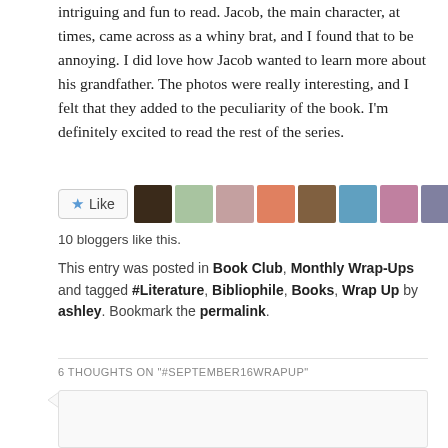intriguing and fun to read. Jacob, the main character, at times, came across as a whiny brat, and I found that to be annoying. I did love how Jacob wanted to learn more about his grandfather. The photos were really interesting, and I felt that they added to the peculiarity of the book. I'm definitely excited to read the rest of the series.
[Figure (other): Like button with star icon and row of 8 blogger avatar photos]
10 bloggers like this.
This entry was posted in Book Club, Monthly Wrap-Ups and tagged #Literature, Bibliophile, Books, Wrap Up by ashley. Bookmark the permalink.
6 THOUGHTS ON "#SEPTEMBER16WRAPUP"
[Figure (photo): Comment box with profile photo of a young woman with long brown hair]